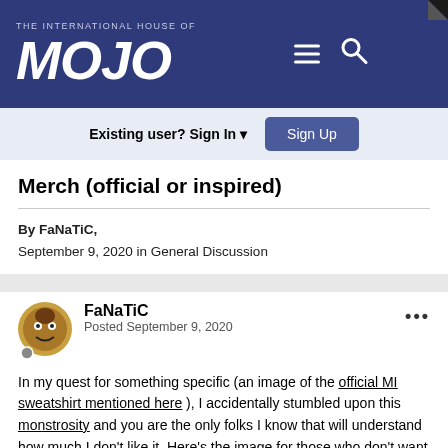THE INTERNATIONAL HOUSE OF MOJO
Merch (official or inspired)
By FaNaTiC,
September 9, 2020 in General Discussion
FaNaTiC
Posted September 9, 2020
In my quest for something specific (an image of the official MI sweatshirt mentioned here ), I accidentally stumbled upon this monstrosity and you are the only folks I know that will understand how much I don't like it. Here's the image for those who don't want to view the link: